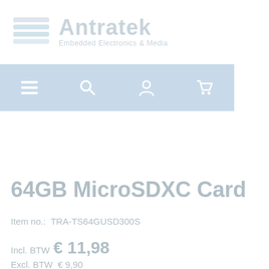[Figure (logo): Antratek Embedded Electronics & Media logo with stacked lines icon in light blue/grey tones]
[Figure (screenshot): Navigation bar with menu, search, account, and cart icons on light blue background]
64GB MicroSDXC Card
Item no.:  TRA-TS64GUSD300S
Incl. BTW  € 11,98
Excl. BTW  € 9,90